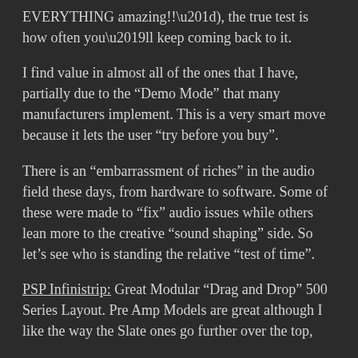EVERYTHING amazing!!”), the true test is how often you’ll keep coming back to it.
I find value in almost all of the ones that I have, partially due to the “Demo Mode” that many manufacturers implement. This is a very smart move because it lets the user “try before you buy”.
There is an “embarrassment of riches” in the audio field these days, from hardware to software. Some of these were made to “fix” audio issues while others lean more to the creative “sound shaping” side. So let’s see who is standing the relative “test of time”.
PSP Infinistrip: Great Modular “Drag and Drop” 500 Series Layout. Pre Amp Models are great although I like the way the Slate ones go further over the top, distortion wise. This plugin is fantastic — THE BEST